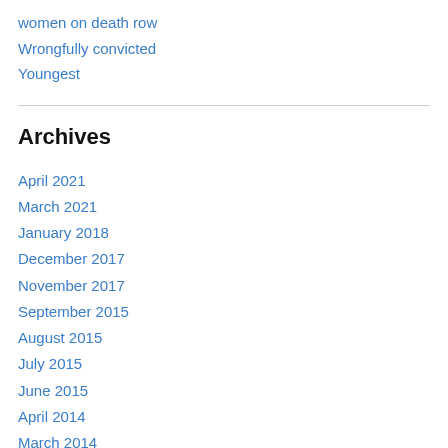women on death row
Wrongfully convicted
Youngest
Archives
April 2021
March 2021
January 2018
December 2017
November 2017
September 2015
August 2015
July 2015
June 2015
April 2014
March 2014
February 2014
January 2014